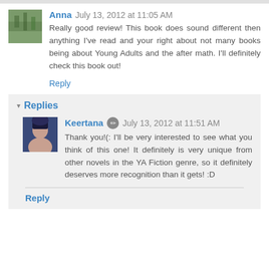Anna July 13, 2012 at 11:05 AM
Really good review! This book does sound different then anything I've read and your right about not many books being about Young Adults and the after math. I'll definitely check this book out!
Reply
Replies
Keertana July 13, 2012 at 11:51 AM
Thank you!(: I'll be very interested to see what you think of this one! It definitely is very unique from other novels in the YA Fiction genre, so it definitely deserves more recognition than it gets! :D
Reply